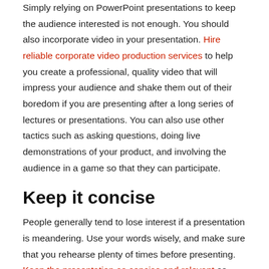Simply relying on PowerPoint presentations to keep the audience interested is not enough. You should also incorporate video in your presentation. Hire reliable corporate video production services to help you create a professional, quality video that will impress your audience and shake them out of their boredom if you are presenting after a long series of lectures or presentations. You can also use other tactics such as asking questions, doing live demonstrations of your product, and involving the audience in a game so that they can participate.
Keep it concise
People generally tend to lose interest if a presentation is meandering. Use your words wisely, and make sure that you rehearse plenty of times before presenting. Keep the presentation as concise and relevant as possible. Always